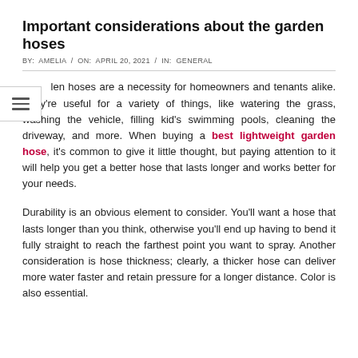Important considerations about the garden hoses
BY:  AMELIA  /  ON:  APRIL 20, 2021  /  IN:  GENERAL
Garden hoses are a necessity for homeowners and tenants alike. They're useful for a variety of things, like watering the grass, washing the vehicle, filling kid's swimming pools, cleaning the driveway, and more. When buying a best lightweight garden hose, it's common to give it little thought, but paying attention to it will help you get a better hose that lasts longer and works better for your needs.
Durability is an obvious element to consider. You'll want a hose that lasts longer than you think, otherwise you'll end up having to bend it fully straight to reach the farthest point you want to spray. Another consideration is hose thickness; clearly, a thicker hose can deliver more water faster and retain pressure for a longer distance. Color is also essential.